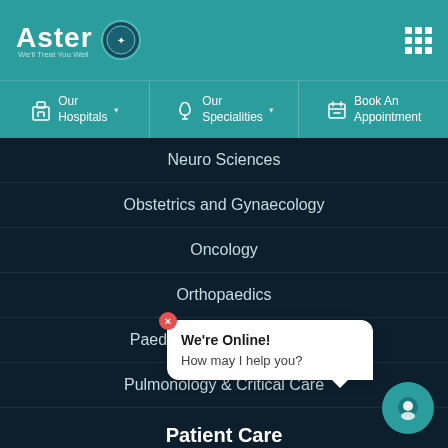[Figure (logo): Aster hospital logo with circular badge icon and tagline 'We'll Treat You Well']
[Figure (other): 9-dot grid/menu icon in top right corner]
Our Hospitals (dropdown)
Our Specialities (dropdown)
Book An Appointment
Neuro Sciences
Obstetrics and Gynaecology
Oncology
Orthopaedics
Paediatrics & Neonatology
Pulmonology & Critical Care
Patient Care
Medical
Video C...
Book an Appointment
We're Online!
How may I help you?